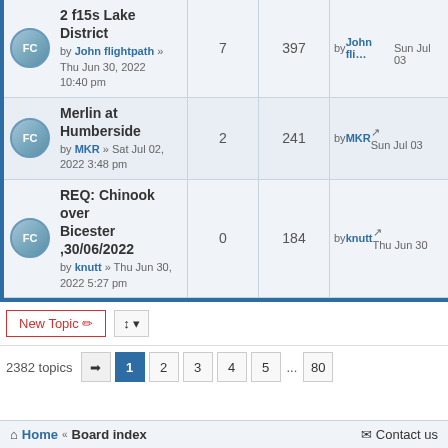2 f15s Lake District by John flightpath » Thu Jun 30, 2022 10:40 pm | 7 replies | 397 views | by John fli... Sun Jul 03
Merlin at Humberside by MKR » Sat Jul 02, 2022 3:48 pm | 2 replies | 241 views | by MKR Sun Jul 03
REQ: Chinook over Bicester ,30/06/2022 by knutt » Thu Jun 30, 2022 5:27 pm | 0 replies | 184 views | by knutt Thu Jun 30
New Topic | sort options | 2382 topics | pages: 1 2 3 4 5 ... 80
FORUM PERMISSIONS
You cannot post new topics in this forum
You cannot reply to topics in this forum
You cannot edit your posts in this forum
You cannot delete your posts in this forum
Home « Board index   Contact us